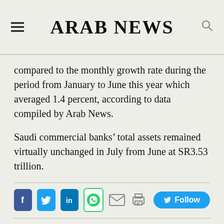ARAB NEWS
compared to the monthly growth rate during the period from January to June this year which averaged 1.4 percent, according to data compiled by Arab News.
Saudi commercial banks’ total assets remained virtually unchanged in July from June at SR3.53 trillion.
[Figure (infographic): Social media sharing icons: Facebook, Twitter, LinkedIn, WhatsApp, Email, Print, and a Twitter Follow button]
Topics: SAMA   BANKS